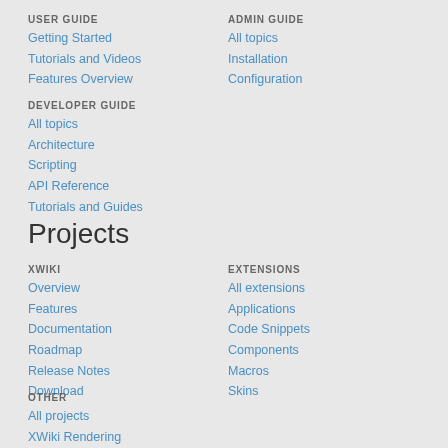USER GUIDE
Getting Started
Tutorials and Videos
Features Overview
ADMIN GUIDE
All topics
Installation
Configuration
DEVELOPER GUIDE
All topics
Architecture
Scripting
API Reference
Tutorials and Guides
Projects
XWIKI
Overview
Features
Documentation
Roadmap
Release Notes
Download
EXTENSIONS
All extensions
Applications
Code Snippets
Components
Macros
Skins
OTHER
All projects
XWiki Rendering
XWiki Commons